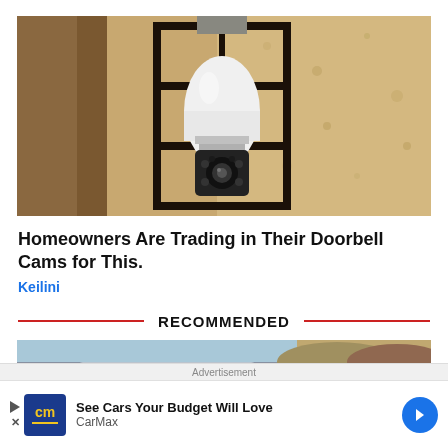[Figure (photo): A security camera shaped like a light bulb mounted inside a black outdoor lantern fixture on a textured stucco wall]
Homeowners Are Trading in Their Doorbell Cams for This.
Keilini
RECOMMENDED
[Figure (photo): Partial image of a car on a scenic road, bottom portion of recommended article]
Advertisement
See Cars Your Budget Will Love CarMax